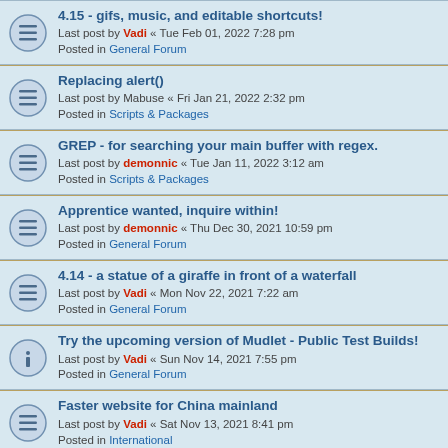4.15 - gifs, music, and editable shortcuts!
Last post by Vadi « Tue Feb 01, 2022 7:28 pm
Posted in General Forum
Replacing alert()
Last post by Mabuse « Fri Jan 21, 2022 2:32 pm
Posted in Scripts & Packages
GREP - for searching your main buffer with regex.
Last post by demonnic « Tue Jan 11, 2022 3:12 am
Posted in Scripts & Packages
Apprentice wanted, inquire within!
Last post by demonnic « Thu Dec 30, 2021 10:59 pm
Posted in General Forum
4.14 - a statue of a giraffe in front of a waterfall
Last post by Vadi « Mon Nov 22, 2021 7:22 am
Posted in General Forum
Try the upcoming version of Mudlet - Public Test Builds!
Last post by Vadi « Sun Nov 14, 2021 7:55 pm
Posted in General Forum
Faster website for China mainland
Last post by Vadi « Sat Nov 13, 2021 8:41 pm
Posted in International
UI poll/questionnaire
Last post by demonnic « Sat Nov 06, 2021 11:47 pm
Posted in General Forum
Mudlet 4.14 Feature Preview
Last post by ...